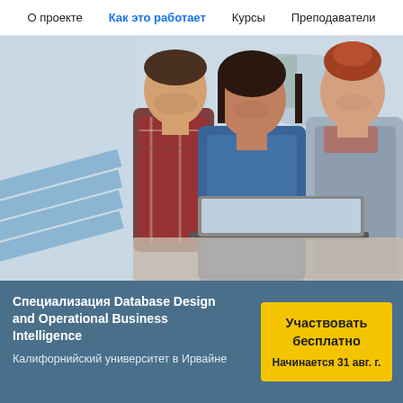О проекте   Как это работает   Курсы   Преподаватели
[Figure (photo): Three people — two women and one man — smiling and looking together at a laptop screen in an office/collaborative setting. The person in the center wears a blue denim shirt.]
Специализация Database Design and Operational Business Intelligence
Калифорнийский университет в Ирвайне
Участвовать бесплатно
Начинается 31 авг. г.